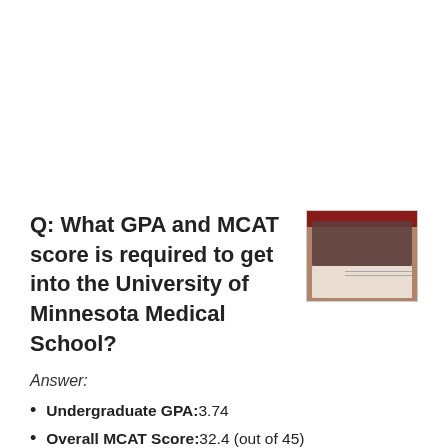Q: What GPA and MCAT score is required to get into the University of Minnesota Medical School?
[Figure (screenshot): Screenshot thumbnail of the University of Minnesota Medical School website with red header and content area]
Answer:
Undergraduate GPA: 3.74
Overall MCAT Score: 32.4 (out of 45)
MCAT Biological Science Score: 10.08
MCAT Physical Science Score: 10.96